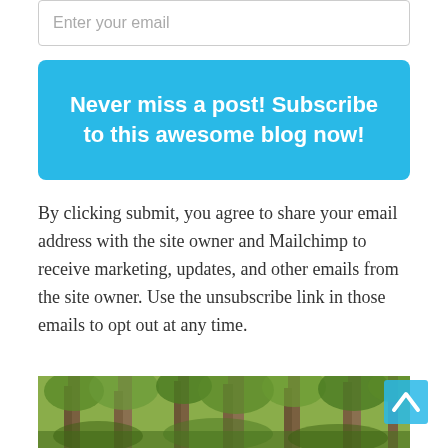Enter your email
Never miss a post! Subscribe to this awesome blog now!
By clicking submit, you agree to share your email address with the site owner and Mailchimp to receive marketing, updates, and other emails from the site owner. Use the unsubscribe link in those emails to opt out at any time.
[Figure (photo): Forest scene with tall trees and green foliage, partially visible at bottom of page]